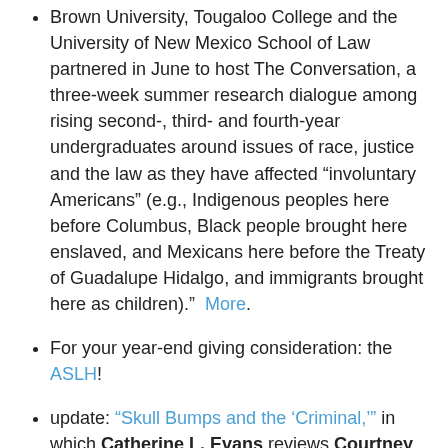Brown University, Tougaloo College and the University of New Mexico School of Law partnered in June to host The Conversation, a three-week summer research dialogue among rising second-, third- and fourth-year undergraduates around issues of race, justice and the law as they have affected “involuntary Americans” (e.g., Indigenous peoples here before Columbus, Black people brought here enslaved, and Mexicans here before the Treaty of Guadalupe Hidalgo, and immigrants brought here as children).” More.
For your year-end giving consideration: the ASLH!
update: "Skull Bumps and the 'Criminal,'" in which Catherine L. Evans reviews Courtney E. Thompson's book for The New Rambler
Weekend Roundup is a weekly feature compiled by all the Legal History blogger.